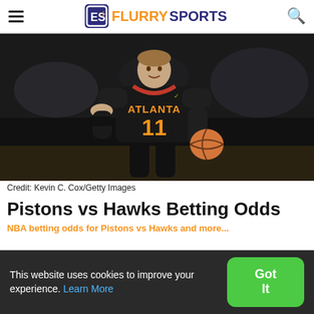FlurrySports
[Figure (photo): Basketball player wearing Atlanta Hawks jersey #11 (Trae Young) dribbling a basketball, dark uniform with orange lettering, arena crowd in background]
Credit: Kevin C. Cox/Getty Images
Pistons vs Hawks Betting Odds
NBA betting odds for Pistons vs Hawks...
This website uses cookies to improve your experience. Learn More